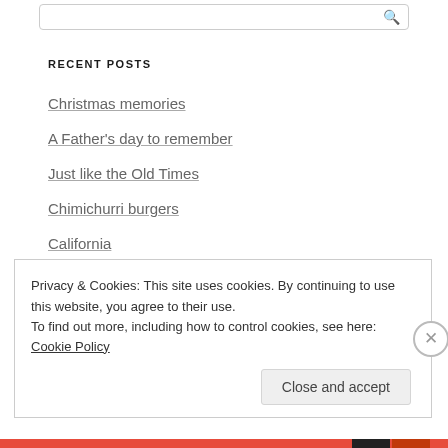Search
RECENT POSTS
Christmas memories
A Father's day to remember
Just like the Old Times
Chimichurri burgers
California
ARCHIVES
Privacy & Cookies: This site uses cookies. By continuing to use this website, you agree to their use.
To find out more, including how to control cookies, see here: Cookie Policy
Close and accept